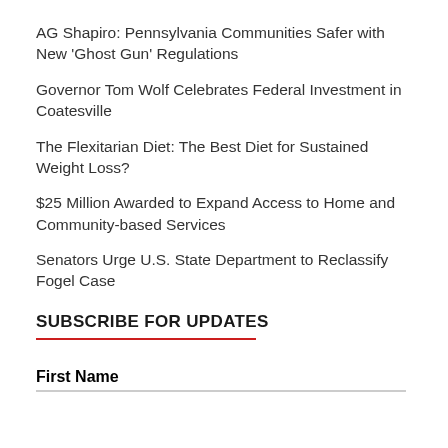AG Shapiro: Pennsylvania Communities Safer with New ‘Ghost Gun’ Regulations
Governor Tom Wolf Celebrates Federal Investment in Coatesville
The Flexitarian Diet: The Best Diet for Sustained Weight Loss?
$25 Million Awarded to Expand Access to Home and Community-based Services
Senators Urge U.S. State Department to Reclassify Fogel Case
SUBSCRIBE FOR UPDATES
First Name